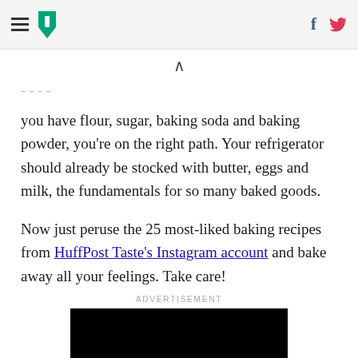HuffPost navigation with hamburger menu, logo, Facebook and Twitter icons
you have flour, sugar, baking soda and baking powder, you're on the right path. Your refrigerator should already be stocked with butter, eggs and milk, the fundamentals for so many baked goods.

Now just peruse the 25 most-liked baking recipes from HuffPost Taste's Instagram account and bake away all your feelings. Take care!
ADVERTISEMENT
[Figure (other): Black advertisement video/image block]